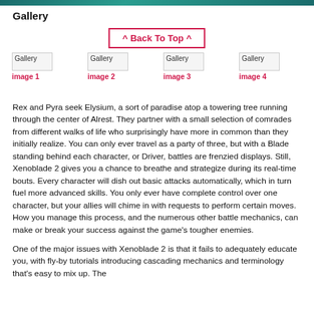Gallery
^ Back To Top ^
[Figure (other): Gallery image 1 placeholder]
[Figure (other): Gallery image 2 placeholder]
[Figure (other): Gallery image 3 placeholder]
[Figure (other): Gallery image 4 placeholder]
Rex and Pyra seek Elysium, a sort of paradise atop a towering tree running through the center of Alrest. They partner with a small selection of comrades from different walks of life who surprisingly have more in common than they initially realize. You can only ever travel as a party of three, but with a Blade standing behind each character, or Driver, battles are frenzied displays. Still, Xenoblade 2 gives you a chance to breathe and strategize during its real-time bouts. Every character will dish out basic attacks automatically, which in turn fuel more advanced skills. You only ever have complete control over one character, but your allies will chime in with requests to perform certain moves. How you manage this process, and the numerous other battle mechanics, can make or break your success against the game's tougher enemies.
One of the major issues with Xenoblade 2 is that it fails to adequately educate you, with fly-by tutorials introducing cascading mechanics and terminology that's easy to mix up. The first...